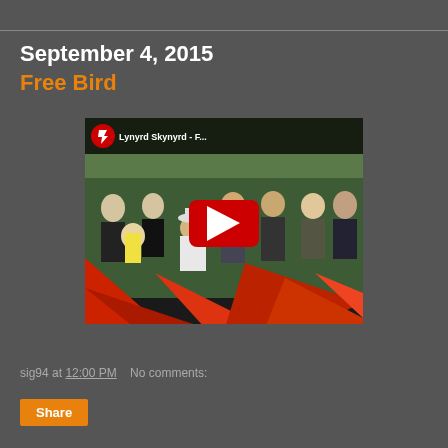September 4, 2015
Free Bird
[Figure (screenshot): YouTube video thumbnail for Lynyrd Skynyrd - F... showing band members posed in front of trees with red geometric shapes at bottom and YouTube play button overlay]
sig94 at 12:00 PM    No comments:
Share